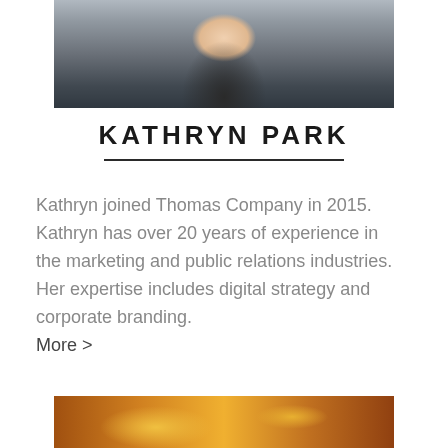[Figure (photo): Professional headshot of Kathryn Park, a woman with long dark hair wearing a dark blazer over a white top, photographed in an office/restaurant setting]
KATHRYN PARK
Kathryn joined Thomas Company in 2015. Kathryn has over 20 years of experience in the marketing and public relations industries. Her expertise includes digital strategy and corporate branding.
More >
[Figure (photo): Partial photo at bottom of page showing warm amber/orange tones, appears to be a decorative or background image]